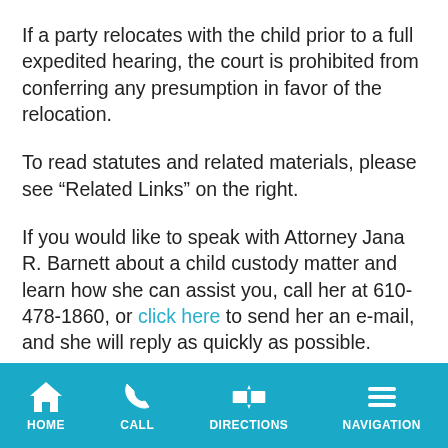If a party relocates with the child prior to a full expedited hearing, the court is prohibited from conferring any presumption in favor of the relocation.
To read statutes and related materials, please see “Related Links” on the right.
If you would like to speak with Attorney Jana R. Barnett about a child custody matter and learn how she can assist you, call her at 610-478-1860, or click here to send her an e-mail, and she will reply as quickly as possible.
HOME  CALL  DIRECTIONS  NAVIGATION